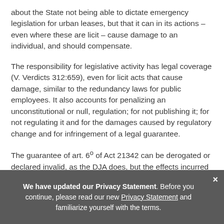about the State not being able to dictate emergency legislation for urban leases, but that it can in its actions – even where these are licit – cause damage to an individual, and should compensate.
The responsibility for legislative activity has legal coverage (V. Verdicts 312:659), even for licit acts that cause damage, similar to the redundancy laws for public employees. It also accounts for penalizing an unconstitutional or null, regulation; for not publishing it; for not regulating it and for the damages caused by regulatory change and for infringement of a legal guarantee.
The guarantee of art. 6º of Act 21342 can be derogated or declared invalid, as the DJA does, but the effects incurred will remain as they are protected by the property acquisition
We have updated our Privacy Statement. Before you continue, please read our new Privacy Statement and familiarize yourself with the terms.